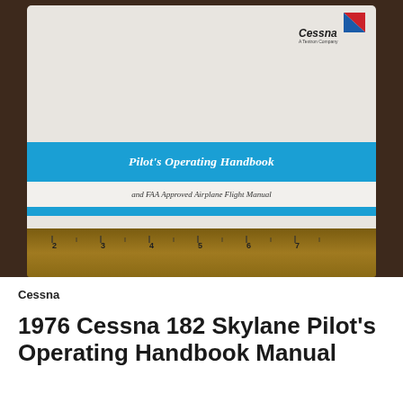[Figure (photo): Photograph of a Cessna Pilot's Operating Handbook binder placed on a dark brown surface. The white binder/manual has the Cessna logo in upper right, a bright blue banner reading 'Pilot's Operating Handbook', a white sub-band reading 'and FAA Approved Airplane Flight Manual', and a thin blue stripe below. A wooden ruler is visible beneath the manual.]
Cessna
1976 Cessna 182 Skylane Pilot's Operating Handbook Manual